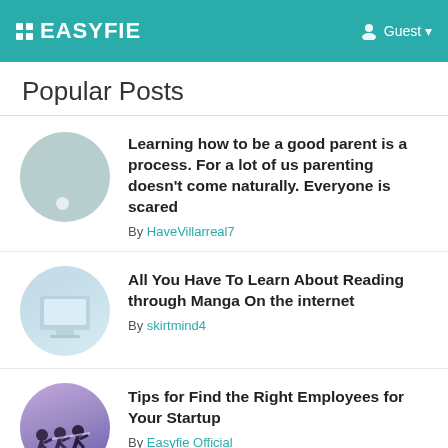EASYFIE | Guest
Popular Posts
Learning how to be a good parent is a process. For a lot of us parenting doesn't come naturally. Everyone is scared — By HaveVillarreal7
All You Have To Learn About Reading through Manga On the internet — By skirtmind4
Tips for Find the Right Employees for Your Startup — By Easyfie Official